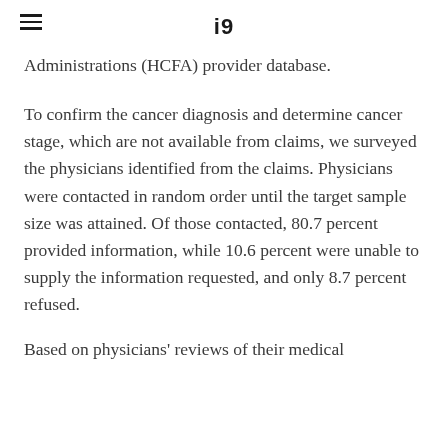iA
Administrations (HCFA) provider database.
To confirm the cancer diagnosis and determine cancer stage, which are not available from claims, we surveyed the physicians identified from the claims. Physicians were contacted in random order until the target sample size was attained. Of those contacted, 80.7 percent provided information, while 10.6 percent were unable to supply the information requested, and only 8.7 percent refused.
Based on physicians' reviews of their medical